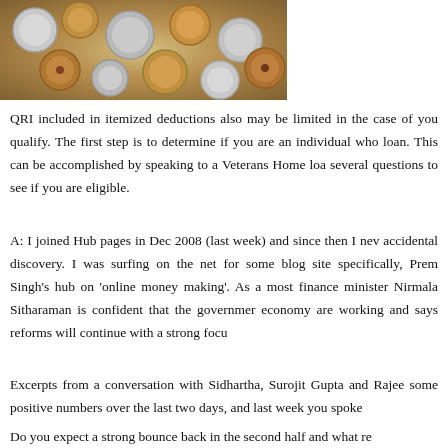[Figure (photo): Close-up photograph of various coins scattered together, showing different denominations and colors including silver and copper coins.]
QRI included in itemized deductions also may be limited in the case of you qualify. The first step is to determine if you are an individual who loan. This can be accomplished by speaking to a Veterans Home loa several questions to see if you are eligible.
A: I joined Hub pages in Dec 2008 (last week) and since then I nev accidental discovery. I was surfing on the net for some blog site specifically, Prem Singh's hub on 'online money making'. As a most finance minister Nirmala Sitharaman is confident that the governmer economy are working and says reforms will continue with a strong focu
Excerpts from a conversation with Sidhartha, Surojit Gupta and Rajee some positive numbers over the last two days, and last week you spoke
Do you expect a strong bounce back in the second half and what re